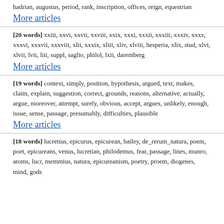hadrian, augustus, period, rank, inscription, offices, reign, equestrian
More articles
[20 words] xxiii, xxvi, xxvii, xxviii, xxix, xxxi, xxxii, xxxiii, xxxiv, xxxv, xxxvi, xxxvii, xxxviii, xlii, xxxix, xliii, xliv, xlviii, hesperia, xlix, stud, xlvi, xlvii, lvii, liii, suppl, saglio, philol, lxii, daremberg
More articles
[19 words] context, simply, position, hypothesis, argued, text, makes, claim, explain, suggestion, correct, grounds, reasons, alternative, actually, argue, moreover, attempt, surely, obvious, accept, argues, unlikely, enough, issue, sense, passage, presumably, difficulties, plausible
More articles
[18 words] lucretius, epicurus, epicurean, bailey, de_rerum_natura, poem, poet, epicureans, venus, lucretian, philodemus, fear, passage, lines, munro, atoms, lucr, memmius, natura, epicureanism, poetry, proem, diogenes, mind, gods
More articles